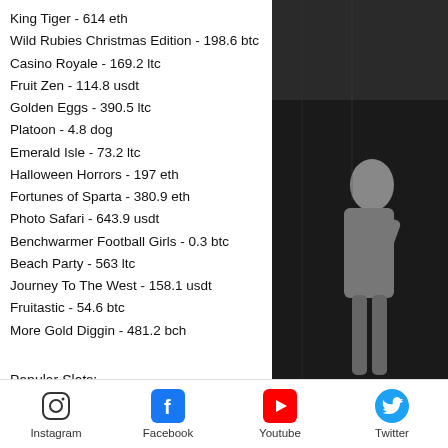King Tiger - 614 eth
Wild Rubies Christmas Edition - 198.6 btc
Casino Royale - 169.2 ltc
Fruit Zen - 114.8 usdt
Golden Eggs - 390.5 ltc
Platoon - 4.8 dog
Emerald Isle - 73.2 ltc
Halloween Horrors - 197 eth
Fortunes of Sparta - 380.9 eth
Photo Safari - 643.9 usdt
Benchwarmer Football Girls - 0.3 btc
Beach Party - 563 ltc
Journey To The West - 158.1 usdt
Fruitastic - 54.6 btc
More Gold Diggin - 481.2 bch
Popular Slots:
BetChain Casino Aztec Secrets
[Figure (photo): Grayscale photo of a person on dark background, right side of page]
Instagram  Facebook  Youtube  Twitter